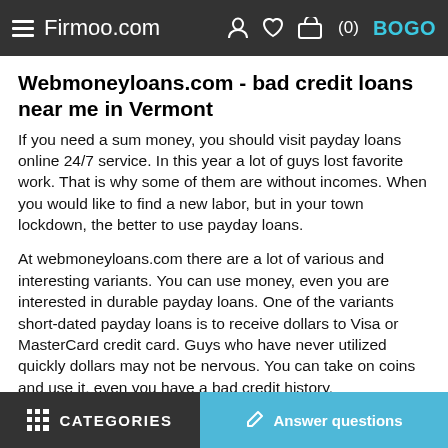Firmoo.com  ♦ ♥ (0) BOGO
Webmoneyloans.com - bad credit loans near me in Vermont
If you need a sum money, you should visit payday loans online 24/7 service. In this year a lot of guys lost favorite work. That is why some of them are without incomes. When you would like to find a new labor, but in your town lockdown, the better to use payday loans.
At webmoneyloans.com there are a lot of various and interesting variants. You can use money, even you are interested in durable payday loans. One of the variants short-dated payday loans is to receive dollars to Visa or MasterCard credit card. Guys who have never utilized quickly dollars may not be nervous. You can take on coins and use it, even you have a bad credit history.
Some of people in the USA are using different types of loans. If you are reside in Arkansas or New York, you may read FAQ, where you will search all responses for diverse your questions. On the site probable to find the calculator. It will support you to regard the percent rate.
CATEGORIES   ✏ Answer questions